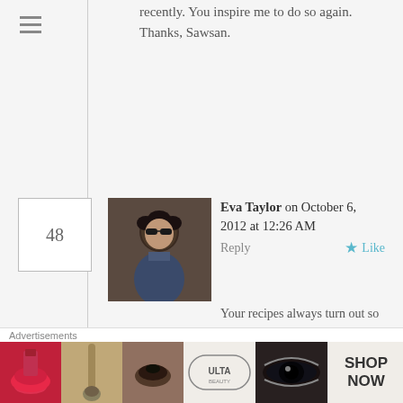recently. You inspire me to do so again. Thanks, Sawsan.
Eva Taylor on October 6, 2012 at 12:26 AM   Reply   ★ Like
Your recipes always turn out so well for me Sawsan, and I know I'm going to have to try this one. We don't eat that much pita bread, but home made might make that different. Store bout is always dry and flavorless. Thanks!
familynice on October 6, 2012 at
[Figure (infographic): Ulta Beauty advertisement banner with makeup imagery and SHOP NOW call to action]